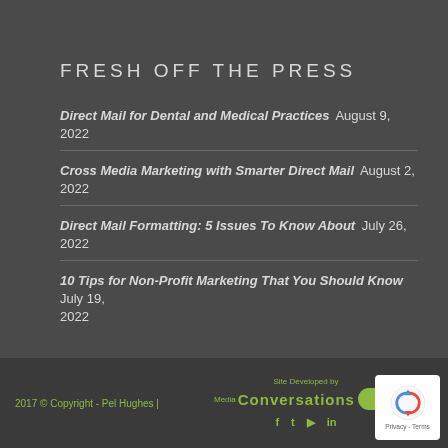FRESH OFF THE PRESS
Direct Mail for Dental and Medical Practices  August 9, 2022
Cross Media Marketing with Smarter Direct Mail  August 2, 2022
Direct Mail Formatting: 5 Issues To Know About  July 26, 2022
10 Tips for Non-Profit Marketing That You Should Know  July 19, 2022
2017 © Copyright - Pel Hughes | Site Developed by Media Conversations